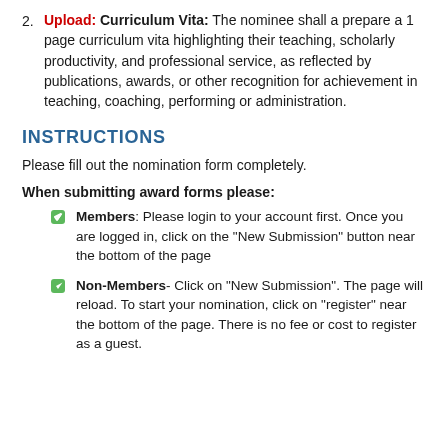2. Upload: Curriculum Vita: The nominee shall a prepare a 1 page curriculum vita highlighting their teaching, scholarly productivity, and professional service, as reflected by publications, awards, or other recognition for achievement in teaching, coaching, performing or administration.
INSTRUCTIONS
Please fill out the nomination form completely.
When submitting award forms please:
Members: Please login to your account first. Once you are logged in, click on the "New Submission" button near the bottom of the page
Non-Members- Click on "New Submission". The page will reload. To start your nomination, click on "register" near the bottom of the page. There is no fee or cost to register as a guest.